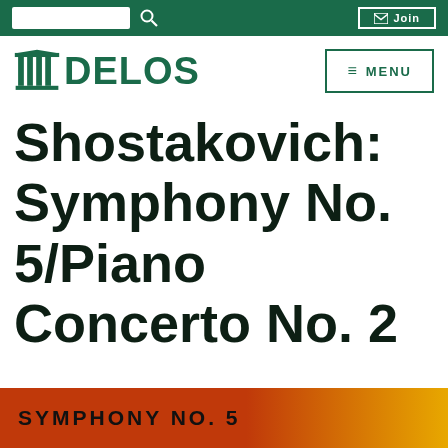Delos Music — navigation bar with search and Join button
[Figure (logo): Delos Records logo: green column icon followed by bold green DELOS text]
Shostakovich: Symphony No. 5/Piano Concerto No. 2
[Figure (photo): Album cover strip at the bottom showing 'SYMPHONY NO. 5' text on orange/yellow background]